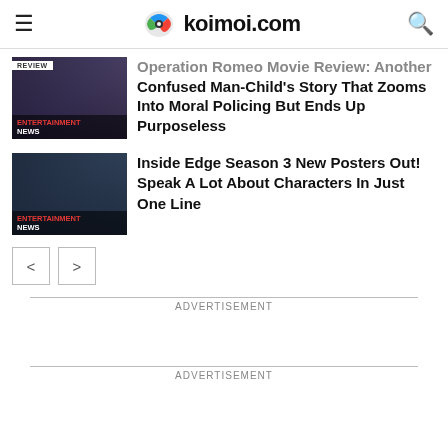koimoi.com
Operation Romeo Movie Review: Another Confused Man-Child's Story That Zooms Into Moral Policing But Ends Up Purposeless
Inside Edge Season 3 New Posters Out! Speak A Lot About Characters In Just One Line
ADVERTISEMENT
ADVERTISEMENT